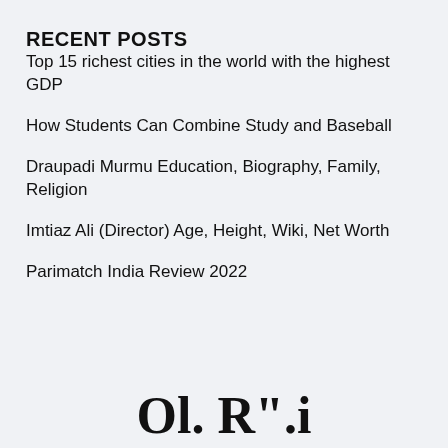RECENT POSTS
Top 15 richest cities in the world with the highest GDP
How Students Can Combine Study and Baseball
Draupadi Murmu Education, Biography, Family, Religion
Imtiaz Ali (Director) Age, Height, Wiki, Net Worth
Parimatch India Review 2022